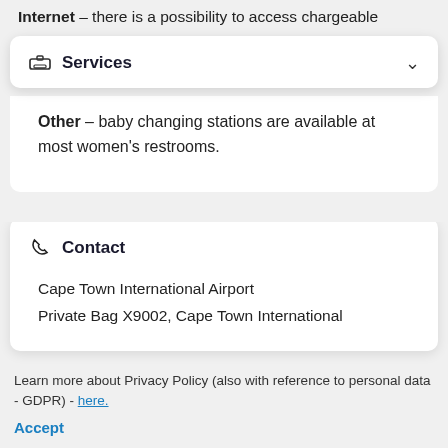Internet – there is a possibility to access chargeable
Services
Other – baby changing stations are available at most women's restrooms.
Contact
Cape Town International Airport
Private Bag X9002, Cape Town International
Learn more about Privacy Policy (also with reference to personal data - GDPR) - here.
Accept